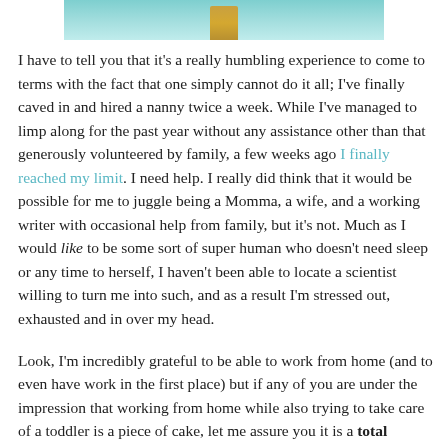[Figure (photo): Partial photo showing a blue sky background with what appears to be a golden/wooden post or surfboard, cropped at top of page]
I have to tell you that it's a really humbling experience to come to terms with the fact that one simply cannot do it all; I've finally caved in and hired a nanny twice a week.  While I've managed to limp along for the past year without any assistance other than that generously volunteered by family, a few weeks ago I finally reached my limit.  I need help.  I really did think that it would be possible for me to juggle being a Momma, a wife, and a working writer with occasional help from family, but it's not.  Much as I would like to be some sort of super human who doesn't need sleep or any time to herself, I haven't been able to locate a scientist willing to turn me into such, and as a result I'm stressed out, exhausted and in over my head.
Look, I'm incredibly grateful to be able to work from home (and to even have work in the first place) but if any of you are under the impression that working from home while also trying to take care of a toddler is a piece of cake, let me assure you it is a total freaking nightmare.  I know some of